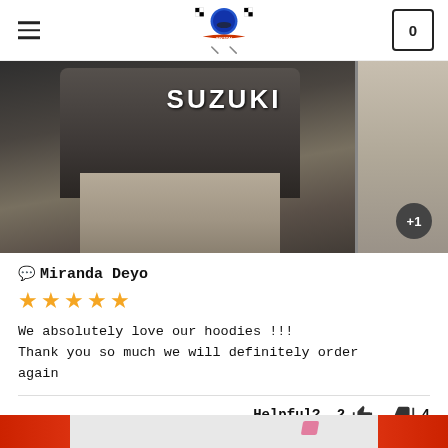SIXZON
[Figure (photo): Person wearing a Suzuki hoodie, standing in front of a door. A +1 badge is visible in the bottom right corner.]
Miranda Deyo
★★★★★
We absolutely love our hoodies !!!
Thank you so much we will definitely order again
Helpful? 2 👍 👎 4
[Figure (photo): Person wearing a white and red Fox Racing shirt, partial view.]